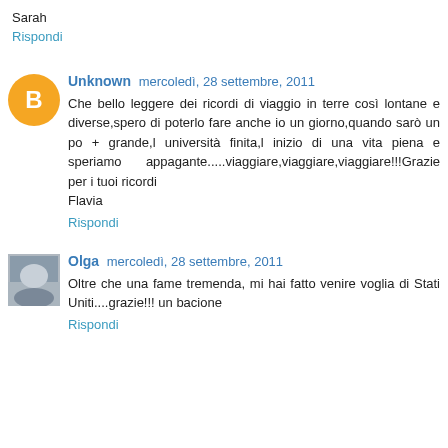Sarah
Rispondi
Unknown  mercoledì, 28 settembre, 2011
Che bello leggere dei ricordi di viaggio in terre così lontane e diverse,spero di poterlo fare anche io un giorno,quando sarò un po + grande,l università finita,l inizio di una vita piena e speriamo appagante.....viaggiare,viaggiare,viaggiare!!!Grazie per i tuoi ricordi
Flavia
Rispondi
Olga  mercoledì, 28 settembre, 2011
Oltre che una fame tremenda, mi hai fatto venire voglia di Stati Uniti....grazie!!! un bacione
Rispondi